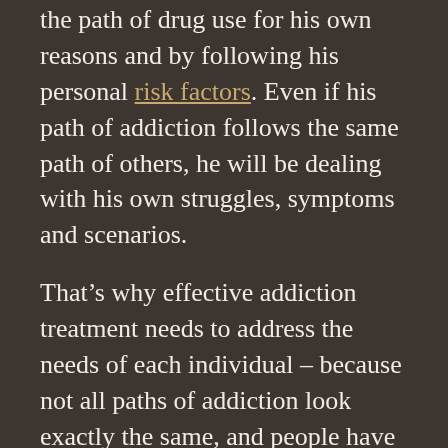the path of drug use for his own reasons and by following his personal risk factors. Even if his path of addiction follows the same path of others, he will be dealing with his own struggles, symptoms and scenarios.
That's why effective addiction treatment needs to address the needs of each individual – because not all paths of addiction look exactly the same, and people have different needs to address to become sober.
But even though this struggle is part of an individual's journey, an addicted person can't say that she's only hurting herself. Instead, the effects of the addiction are reverberating throughout the person's family, whether that includes parents, siblings, a spouse and/or